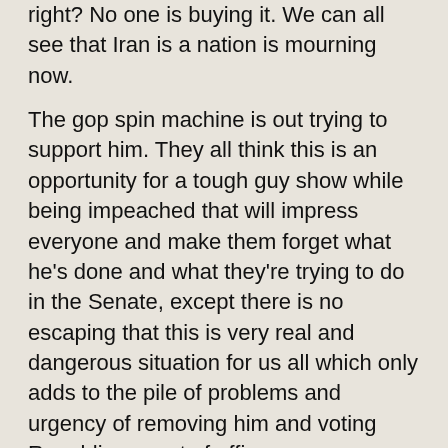right? No one is buying it. We can all see that Iran is a nation is mourning now.
The gop spin machine is out trying to support him. They all think this is an opportunity for a tough guy show while being impeached that will impress everyone and make them forget what he's done and what they're trying to do in the Senate, except there is no escaping that this is very real and dangerous situation for us all which only adds to the pile of problems and urgency of removing him and voting Republicans out of office.
As far as their reasoning goes, have they forgotten that its a common opinion that invading Iraq was a